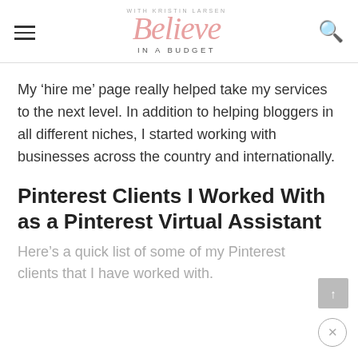Believe in a Budget — with Kristin Larsen
My ‘hire me’ page really helped take my services to the next level. In addition to helping bloggers in all different niches, I started working with businesses across the country and internationally.
Pinterest Clients I Worked With as a Pinterest Virtual Assistant
Here’s a quick list of some of my Pinterest clients that I have worked with.